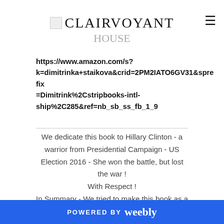CLAIRVOYANT HOUSE
https://www.amazon.com/s?k=dimitrinka+staikova&crid=2PM2IATO6GV31&sprefix=Dimitrink%2Cstripbooks-intl-ship%2C285&ref=nb_sb_ss_fb_1_9
We dedicate this book to Hillary Clinton - a warrior from Presidential Campaign - US Election 2016 - She won the battle, but lost the war ! With Respect ! In Summary - We tried to make this book as a Collection of Clairvoyant readings/Psychic predictions for the real Candidates for Presidential Election 2020. In Our Book You can find :
POWERED BY weebly